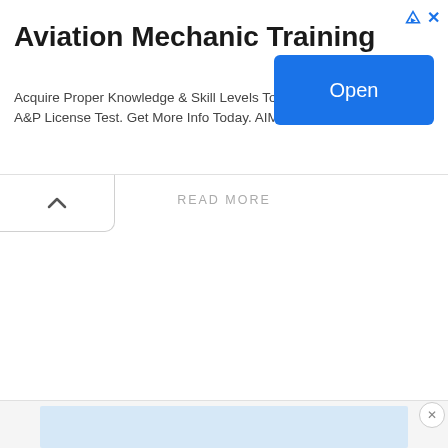Aviation Mechanic Training
Acquire Proper Knowledge & Skill Levels To Pass The A&P License Test. Get More Info Today. AIM Institute
[Figure (other): Blue 'Open' button for advertisement]
READ MORE
[Figure (other): Light blue advertisement strip at the bottom of the page with a close (X) button]